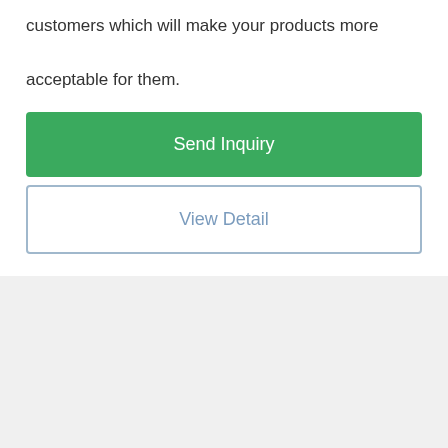customers which will make your products more acceptable for them.
Send Inquiry
View Detail
[Figure (photo): Multiple kraft paper stand-up pouches of increasing sizes arranged in a row against a white background]